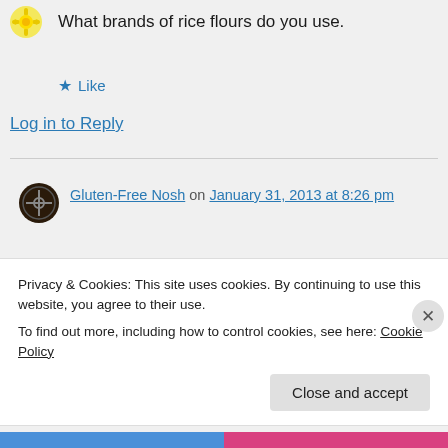[Figure (logo): Yellow sunburst/flower avatar icon in top left]
What brands of rice flours do you use.
★ Like
Log in to Reply
[Figure (logo): Dark circular avatar with crosshair/plus symbol icon]
Gluten-Free Nosh on January 31, 2013 at 8:26 pm
Hi Elana,
Many gluten-free flours are
Privacy & Cookies: This site uses cookies. By continuing to use this website, you agree to their use.
To find out more, including how to control cookies, see here: Cookie Policy
Close and accept